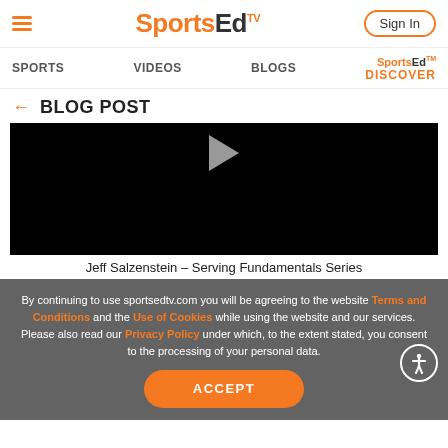SportsEdTV — Sign In
SPORTS   VIDEOS   BLOGS   SportsEdTV DISCOVER
BLOG POST
[Figure (other): Video player with play button, showing a black video frame]
Jeff Salzenstein – Serving Fundamentals Series
By continuing to use sportsedtv.com you will be agreeing to the website Terms and Conditions and the Use of Cookies while using the website and our services. Please also read our Privacy Policy under which, to the extent stated, you consent to the processing of your personal data.
ACCEPT